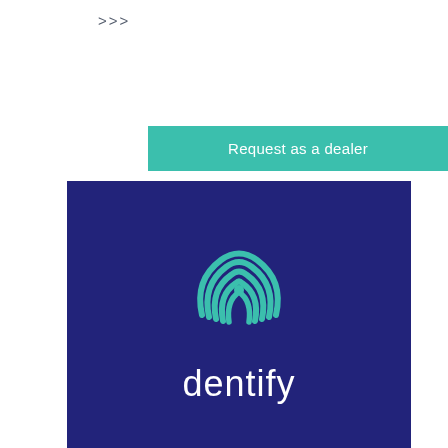>>>
Request as a dealer
[Figure (logo): Dentify company logo on dark navy blue background. Features a fingerprint icon in teal/turquoise color above the word 'dentify' in white lowercase letters.]